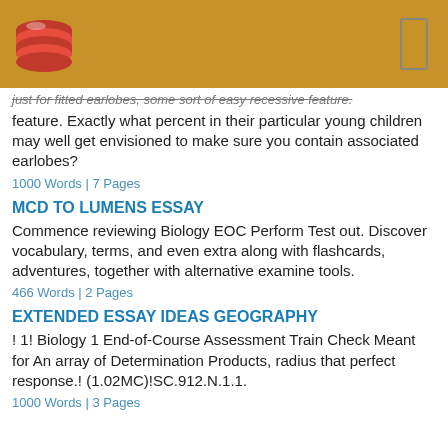just for fitted earlobes, some sort of easy recessive feature. Exactly what percent in their particular young children may well get envisioned to make sure you contain associated earlobes?
1000 Words | 7 Pages
MCD TO LUMENS ESSAY
Commence reviewing Biology EOC Perform Test out. Discover vocabulary, terms, and even extra along with flashcards, adventures, together with alternative examine tools.
466 Words | 2 Pages
EXTENDED ESSAY IDEAS GEOGRAPHY
! 1! Biology 1 End-of-Course Assessment Train Check Meant for An array of Determination Products, radius that perfect response.! (1.02MC)!SC.912.N.1.1.
1000 Words | 3 Pages